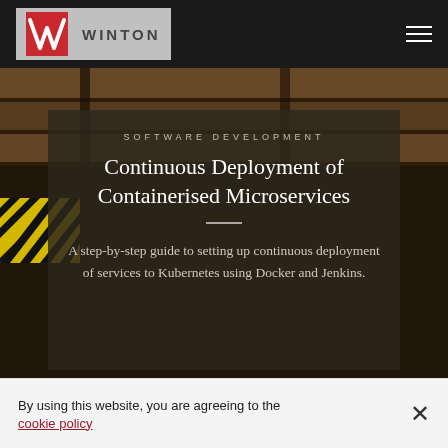WINTON
[Figure (photo): Background photo of industrial shipping containers with yellow and black hazard tape stripes, dark brownish tones]
SOFTWARE DEVELOPMENT
Continuous Deployment of Containerised Microservices
A step-by-step guide to setting up continuous deployment of services to Kubernetes using Docker and Jenkins.
By using this website, you are agreeing to the cookie policy